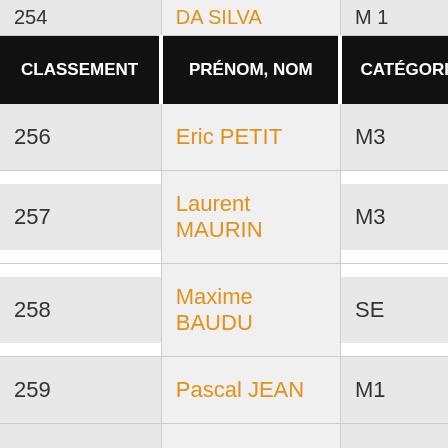| CLASSEMENT | PRÉNOM, NOM | CATÉGORIE |
| --- | --- | --- |
| 254 | DA SILVA | M1 |
| 256 | Eric PETIT | M3 |
| 257 | Laurent MAURIN | M3 |
| 258 | Maxime BAUDU | SE |
| 259 | Pascal JEAN | M1 |
| 260 | Pascale FLORI | M4 |
|  | Jean-René |  |